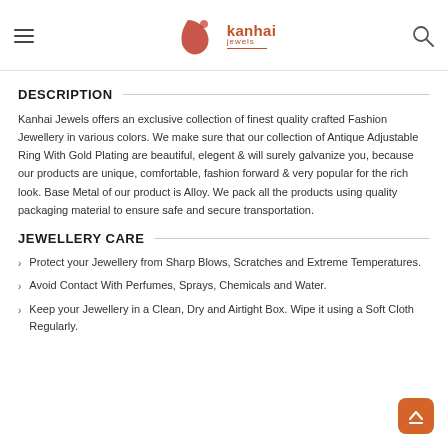Kanhai Jewels
DESCRIPTION
Kanhai Jewels offers an exclusive collection of finest quality crafted Fashion Jewellery in various colors. We make sure that our collection of Antique Adjustable Ring With Gold Plating are beautiful, elegent & will surely galvanize you, because our products are unique, comfortable, fashion forward & very popular for the rich look. Base Metal of our product is Alloy. We pack all the products using quality packaging material to ensure safe and secure transportation.
JEWELLERY CARE
Protect your Jewellery from Sharp Blows, Scratches and Extreme Temperatures.
Avoid Contact With Perfumes, Sprays, Chemicals and Water.
Keep your Jewellery in a Clean, Dry and Airtight Box. Wipe it using a Soft Cloth Regularly.